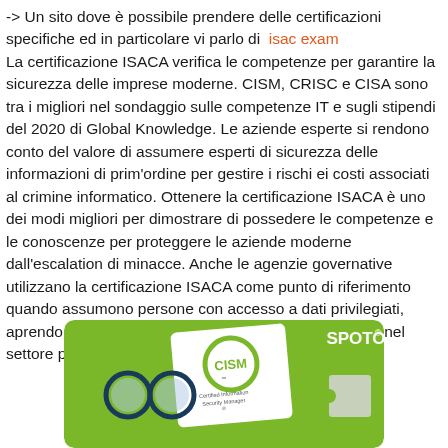-> Un sito dove è possibile prendere delle certificazioni specifiche ed in particolare vi parlo di isac exam La certificazione ISACA verifica le competenze per garantire la sicurezza delle imprese moderne. CISM, CRISC e CISA sono tra i migliori nel sondaggio sulle competenze IT e sugli stipendi del 2020 di Global Knowledge. Le aziende esperte si rendono conto del valore di assumere esperti di sicurezza delle informazioni di prim'ordine per gestire i rischi ei costi associati al crimine informatico. Ottenere la certificazione ISACA è uno dei modi migliori per dimostrare di possedere le competenze e le conoscenze per proteggere le aziende moderne dall'escalation di minacce. Anche le agenzie governative utilizzano la certificazione ISACA come punto di riferimento quando assumono persone con accesso a dati privilegiati, aprendo così la porta a una serie di posizioni redditizie nel settore pubblico.
[Figure (photo): SPOTO CISM Certified Information Security Manager promotional image with green background, showing glasses, a white document with CISM logo and text, and a puzzle piece element.]